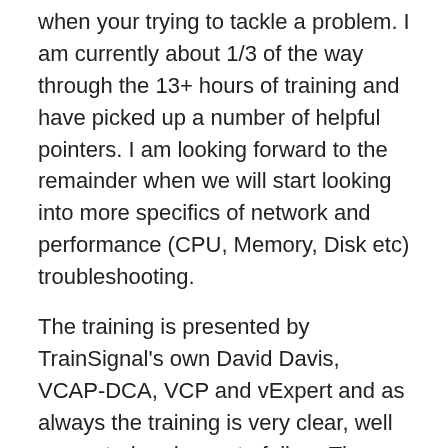when your trying to tackle a problem. I am currently about 1/3 of the way through the 13+ hours of training and have picked up a number of helpful pointers. I am looking forward to the remainder when we will start looking into more specifics of network and performance (CPU, Memory, Disk etc) troubleshooting.
The training is presented by TrainSignal's own David Davis, VCAP-DCA, VCP and vExpert and as always the training is very clear, well presented and easy to follow. The favourite aspect for me is the ability to watch the training on my iPad or stream straight from the internet to allow me to watch what I can on the go.
I would highly recommended this latest edition as well as the previous volumes, as a VMware administrator it really